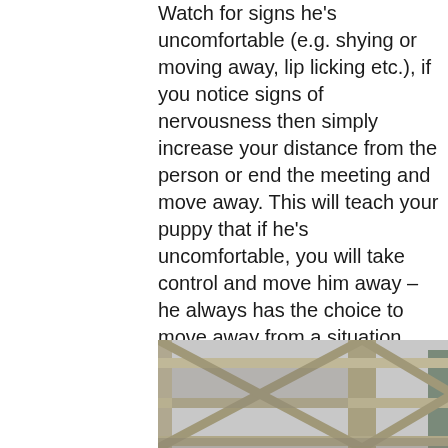Watch for signs he's uncomfortable (e.g. shying or moving away, lip licking etc.), if you notice signs of nervousness then simply increase your distance from the person or end the meeting and move away. This will teach your puppy that if he's uncomfortable, you will take control and move him away – he always has the choice to move away from a situation he's unsure of and he's never forced to interact or stay somewhere he's uncomfortable … this is one of the most important lessons you can teach him!
[Figure (photo): Black and white photograph of a wooden gate or fence structure with cross-beam bracing, with trees visible in the background.]